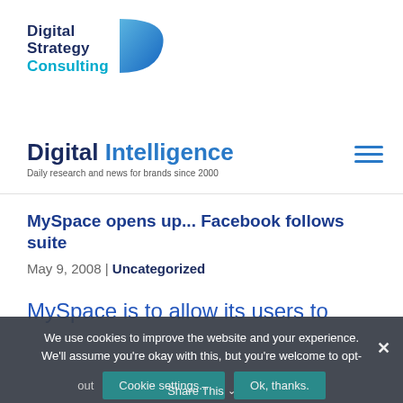[Figure (logo): Digital Strategy Consulting logo with teal/blue text and a blue D-shape icon]
Digital Intelligence
Daily research and news for brands since 2000
MySpace opens up... Facebook follows suite
May 9, 2008 | Uncategorized
MySpace is to allow its users to
We use cookies to improve the website and your experience. We'll assume you're okay with this, but you're welcome to opt-out
Cookie settings... Ok, thanks.
Share This